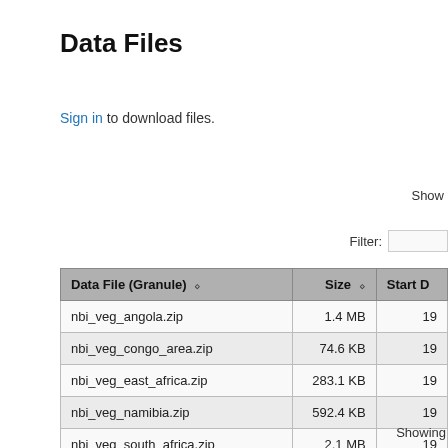Data Files
Sign in to download files.
Show
Filter:
| Data File (Granule) | Size | Start D |
| --- | --- | --- |
| nbi_veg_angola.zip | 1.4 MB | 19 |
| nbi_veg_congo_area.zip | 74.6 KB | 19 |
| nbi_veg_east_africa.zip | 283.1 KB | 19 |
| nbi_veg_namibia.zip | 592.4 KB | 19 |
| nbi_veg_south_africa.zip | 2.1 MB | 19 |
| nbi_veg_zambezi_area.zip | 773.5 KB | 19 |
| safari_species_compositions.zip | 56.9 KB | 19 |
Showing